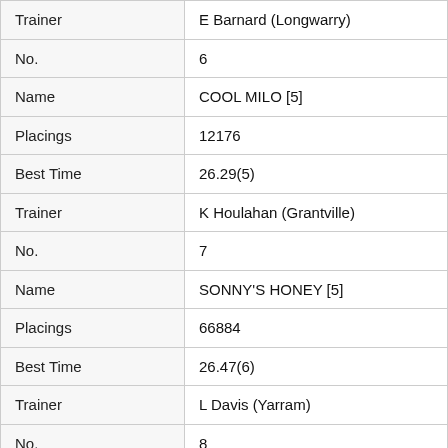| Field | Value |
| --- | --- |
| Trainer | E Barnard (Longwarry) |
| No. | 6 |
| Name | COOL MILO [5] |
| Placings | 12176 |
| Best Time | 26.29(5) |
| Trainer | K Houlahan (Grantville) |
| No. | 7 |
| Name | SONNY'S HONEY [5] |
| Placings | 66884 |
| Best Time | 26.47(6) |
| Trainer | L Davis (Yarram) |
| No. | 8 |
| Name | WALMAC [5] |
| Placings | 18458 |
| Best Time | 26.34(5) |
| Trainer | G Minne (Moe South) |
| No. | 9 |
| Name | EXTRA STARS [5]... |